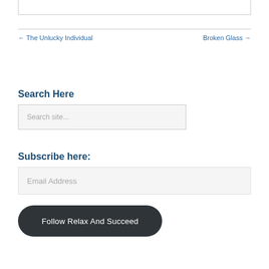[Figure (other): Top portion of a bordered input box, only bottom portion visible]
← The Unlucky Individual
Broken Glass →
Search Here
Search site...
Subscribe here:
Email Address
Follow Relax And Succeed